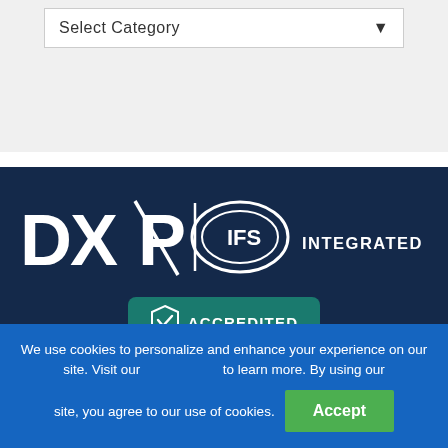[Figure (screenshot): Dropdown selector UI element labeled 'Select Category' with a down arrow on a light gray background]
[Figure (logo): DXP | IFS Integrated Flow Solutions logo in white on dark navy background]
[Figure (logo): BBB Accredited business badge/badge in teal color]
We use cookies to personalize and enhance your experience on our site. Visit our  to learn more. By using our site, you agree to our use of cookies.